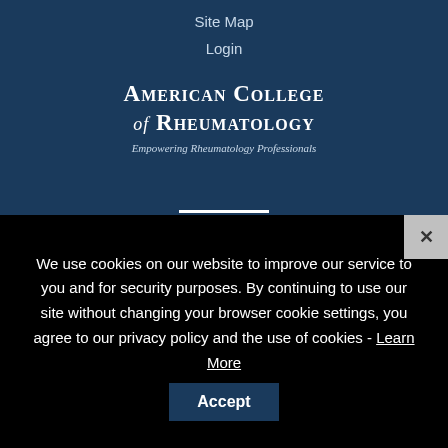Site Map
Login
[Figure (logo): American College of Rheumatology logo with tagline 'Empowering Rheumatology Professionals']
We use cookies on our website to improve our service to you and for security purposes. By continuing to use our site without changing your browser cookie settings, you agree to our privacy policy and the use of cookies - Learn More
Accept